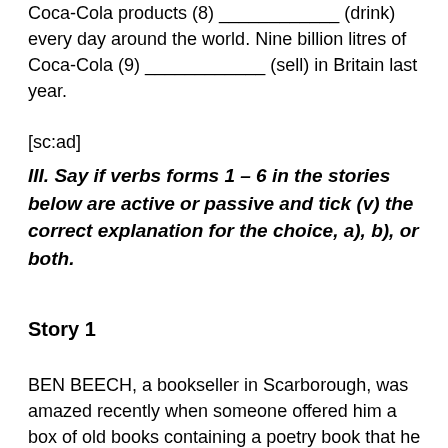Coca-Cola products (8) ____________ (drink) every day around the world. Nine billion litres of Coca-Cola (9) ____________ (sell) in Britain last year.
[sc:ad]
III. Say if verbs forms 1 – 6 in the stories below are active or passive and tick (v) the correct explanation for the choice, a), b), or both.
Story 1
BEN BEECH, a bookseller in Scarborough, was amazed recently when someone offered him a box of old books containing a poetry book that he had won as a 4-year-old schoolboy. (1) My mum threw it